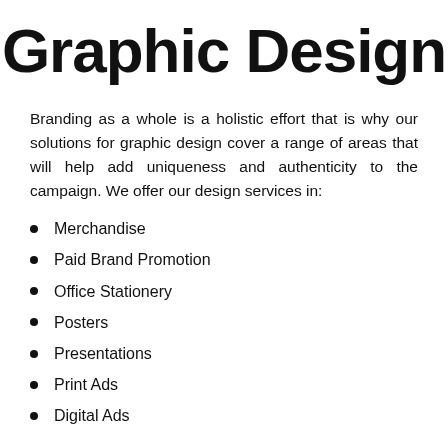Graphic Design
Branding as a whole is a holistic effort that is why our solutions for graphic design cover a range of areas that will help add uniqueness and authenticity to the campaign. We offer our design services in:
Merchandise
Paid Brand Promotion
Office Stationery
Posters
Presentations
Print Ads
Digital Ads